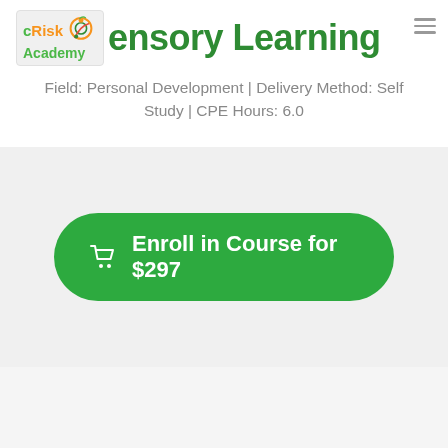[Figure (logo): cRisk Academy logo with colorful circular icon]
ensory Learning
Field: Personal Development | Delivery Method: Self Study | CPE Hours: 6.0
Enroll in Course for $297
60% of people fail the CIA exams. In fact,